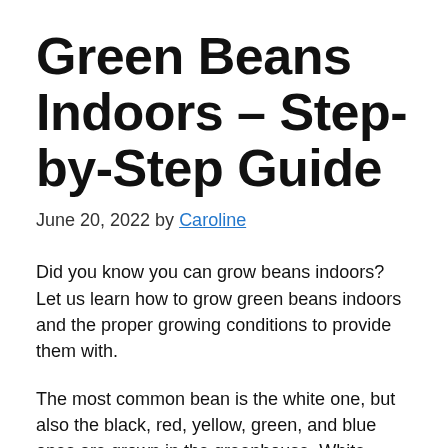Green Beans Indoors – Step-by-Step Guide
June 20, 2022 by Caroline
Did you know you can grow beans indoors? Let us learn how to grow green beans indoors and the proper growing conditions to provide them with.
The most common bean is the white one, but also the black, red, yellow, green, and blue ones are grown in the greenhouse. White beans are a type of bean that is cultivated